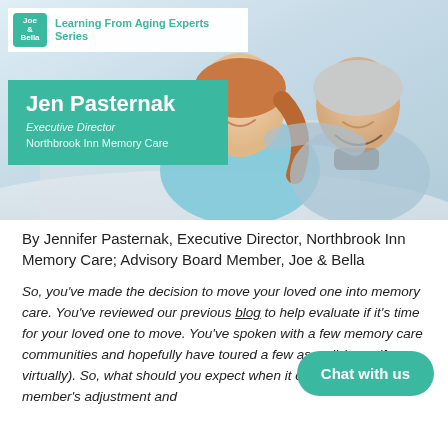[Figure (photo): Hero image showing two women — a younger caregiver and an elderly woman — smiling together, with a teal name card overlay for Jen Pasternak, Executive Director, Northbrook Inn Memory Care. Top-left has Joe & Bella logo and 'Learning From Aging Experts Series' banner.]
By Jennifer Pasternak, Executive Director, Northbrook Inn Memory Care; Advisory Board Member, Joe & Bella
So, you've made the decision to move your loved one into memory care. You've reviewed our previous blog to help evaluate if it's time for your loved one to move. You've spoken with a few memory care communities and hopefully have toured a few as well (even if virtually). So, what should you expect when it comes to your family member's adjustment and